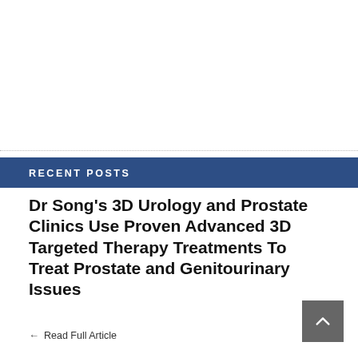RECENT POSTS
Dr Song’s 3D Urology and Prostate Clinics Use Proven Advanced 3D Targeted Therapy Treatments To Treat Prostate and Genitourinary Issues
← Read Full Article
Introducing FAMEEX as a New CEX Paradigm and Innovators in Quant Strategies
China-hifi-Audio Launch SoundArtist And Willsenton Quality Audiophile Tube Amplifiers To Provide Great Solutions to the Modern Market Needs
How the transition to lithium-ion batteries for UPS applications will impact sustainability